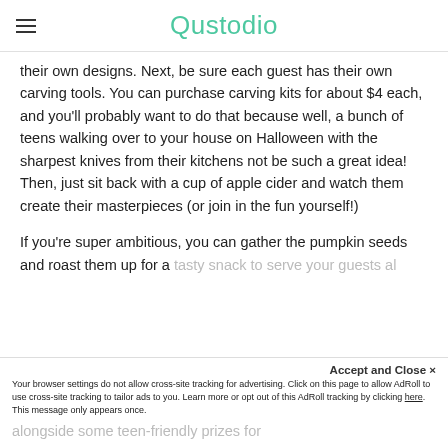Qustodio
their own designs. Next, be sure each guest has their own carving tools. You can purchase carving kits for about $4 each, and you'll probably want to do that because well, a bunch of teens walking over to your house on Halloween with the sharpest knives from their kitchens not be such a great idea! Then, just sit back with a cup of apple cider and watch them create their masterpieces (or join in the fun yourself!)
If you're super ambitious, you can gather the pumpkin seeds and roast them up for a tasty snack to serve your guests alongside some teen-friendly prizes for
Accept and Close ✕
Your browser settings do not allow cross-site tracking for advertising. Click on this page to allow AdRoll to use cross-site tracking to tailor ads to you. Learn more or opt out of this AdRoll tracking by clicking here. This message only appears once.